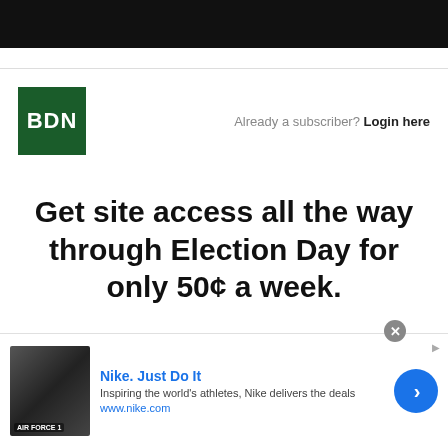[Figure (logo): Black top navigation bar]
[Figure (logo): BDN logo - green square with white BDN text]
Already a subscriber? Login here
Get site access all the way through Election Day for only 50¢ a week.
[Figure (other): Nike advertisement banner with shoe image, title 'Nike. Just Do It', description 'Inspiring the world's athletes, Nike delivers the deals', url 'www.nike.com', and a blue arrow CTA button]